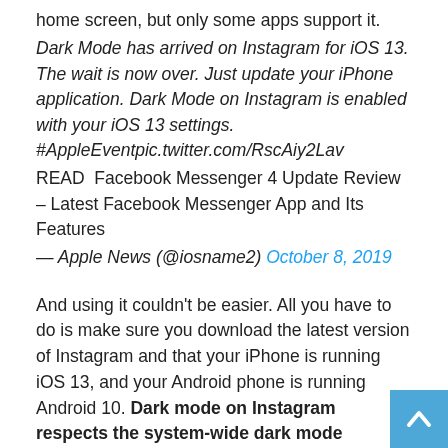home screen, but only some apps support it.
Dark Mode has arrived on Instagram for iOS 13. The wait is now over. Just update your iPhone application. Dark Mode on Instagram is enabled with your iOS 13 settings. #AppleEventpic.twitter.com/RscAiy2Lav
READ  Facebook Messenger 4 Update Review – Latest Facebook Messenger App and Its Features
— Apple News (@iosname2) October 8, 2019
And using it couldn't be easier. All you have to do is make sure you download the latest version of Instagram and that your iPhone is running iOS 13, and your Android phone is running Android 10. Dark mode on Instagram respects the system-wide dark mode settings on both operating systems, so the second you switch to dark mode in iOS 13 or Android 10, your Instagram app will also switch to dark mode. There is no way to toggle Instagram's dark mode on